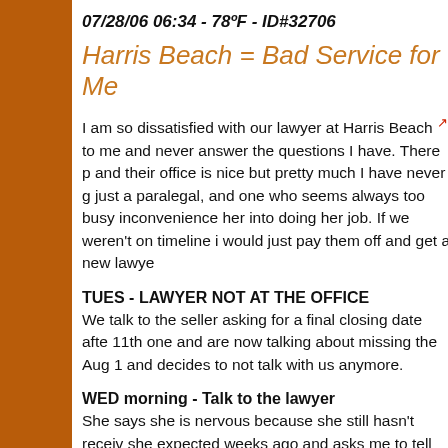07/28/06 06:34 - 78ºF - ID#32706
Harris Beach = Bad Service for Me
I am so dissatisfied with our lawyer at Harris Beach [link] to me and never answer the questions I have. There p and their office is nice but pretty much I have never g just a paralegal, and one who seems always too busy inconvenience her into doing her job. If we weren't on timeline i would just pay them off and get a new lawye
TUES - LAWYER NOT AT THE OFFICE
We talk to the seller asking for a final closing date afte 11th one and are now talking about missing the Aug 1 and decides to not talk with us anymore.
WED morning - Talk to the lawyer
She says she is nervous because she still hasn't receiv she expected weeks ago and asks me to tell her ASAP declare time is of the essence.